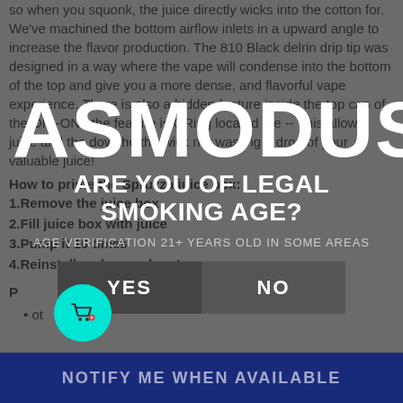so when you squonk, the juice directly wicks into the cotton for. We've machined the bottom airflow inlets in a upward angle to increase the flavor production. The 810 Black delrin drip tip was designed in a way where the vape will condense into the bottom of the top and give you a more dense, and flavorful vape experience. There is also a hidden feature inside the top cap of the ONI-ONI, the feature is ORing located the -- This allows juice and the dow the the wick not wasting a drop of your valuable juice!
How to prime the Spruzza juice box:
1.Remove the juice box
2.Fill juice box with juice
3.Pump it 10 times
4.Reinstall and squonk on!
Product Specifications:
[Figure (screenshot): Age verification modal overlay with ASMODUS brand name, 'ARE YOU OF LEGAL SMOKING AGE?' question, age verification note, and YES/NO buttons]
NOTIFY ME WHEN AVAILABLE